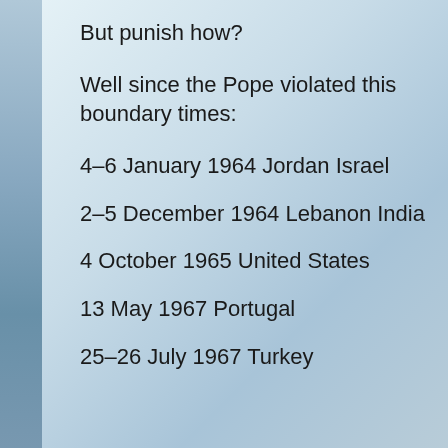But punish how?
Well since the Pope violated this boundary times:
4–6 January 1964 Jordan Israel
2–5 December 1964 Lebanon India
4 October 1965 United States
13 May 1967 Portugal
25–26 July 1967 Turkey